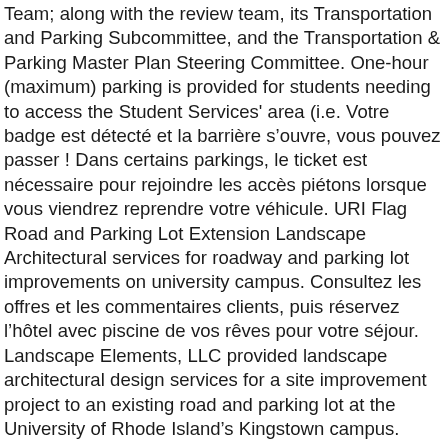Team; along with the review team, its Transportation and Parking Subcommittee, and the Transportation & Parking Master Plan Steering Committee. One-hour (maximum) parking is provided for students needing to access the Student Services' area (i.e. Votre badge est détecté et la barrière s'ouvre, vous pouvez passer ! Dans certains parkings, le ticket est nécessaire pour rejoindre les accès piétons lorsque vous viendrez reprendre votre véhicule. URI Flag Road and Parking Lot Extension Landscape Architectural services for roadway and parking lot improvements on university campus. Consultez les offres et les commentaires clients, puis réservez l'hôtel avec piscine de vos rêves pour votre séjour. Landscape Elements, LLC provided landscape architectural design services for a site improvement project to an existing road and parking lot at the University of Rhode Island's Kingstown campus.